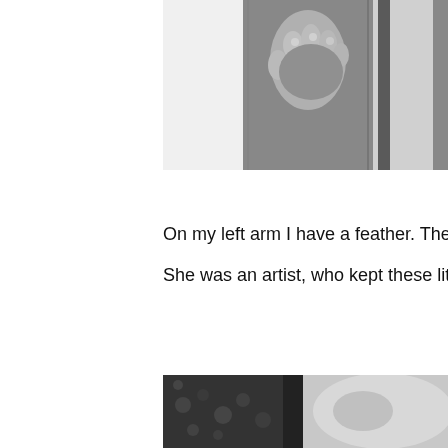[Figure (photo): Black and white photograph showing a person's hand grasping the thigh area of jeans, close-up shot from waist down]
On my left arm I have a feather. The D
She was an artist, who kept these little p
[Figure (photo): Black and white photograph showing a close-up of skin/arm area with tattoo, partial view]